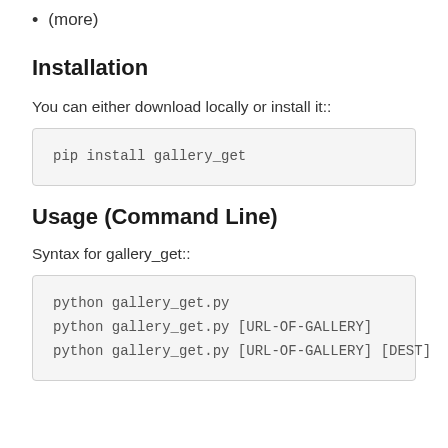(more)
Installation
You can either download locally or install it::
pip install gallery_get
Usage (Command Line)
Syntax for gallery_get::
python gallery_get.py
python gallery_get.py [URL-OF-GALLERY]
python gallery_get.py [URL-OF-GALLERY] [DEST]